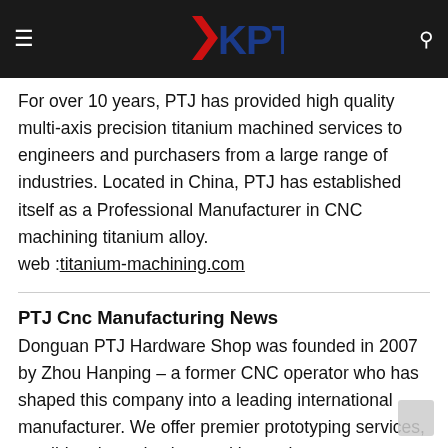KPTJ — Titanium Machining (navigation bar with logo)
For over 10 years, PTJ has provided high quality multi-axis precision titanium machined services to engineers and purchasers from a large range of industries. Located in China, PTJ has established itself as a Professional Manufacturer in CNC machining titanium alloy. web :titanium-machining.com
PTJ Cnc Manufacturing News
Donguan PTJ Hardware Shop was founded in 2007 by Zhou Hanping – a former CNC operator who has shaped this company into a leading international manufacturer. We offer premier prototyping services, small-batch production, and low-volume manufacturing of parts and components in many different materials, processing methods, and finishes. web :China cnc manufacturing